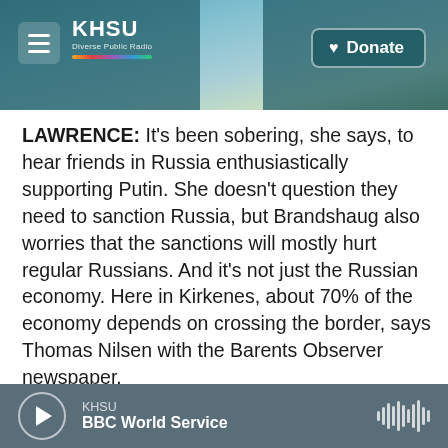KHSU — Diverse Public Radio | Donate
LAWRENCE: It's been sobering, she says, to hear friends in Russia enthusiastically supporting Putin. She doesn't question they need to sanction Russia, but Brandshaug also worries that the sanctions will mostly hurt regular Russians. And it's not just the Russian economy. Here in Kirkenes, about 70% of the economy depends on crossing the border, says Thomas Nilsen with the Barents Observer newspaper.
THOMAS NILSEN: The 24 of February was the real reality check for this town. Everyone that had a hope of open-door, cross-border free trade relations
KHSU | BBC World Service